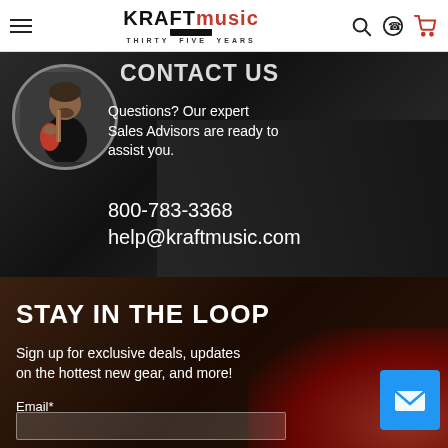Kraft Music — THIRTY FIVE YEARS
CONTACT US
Questions? Our expert Sales Advisors are ready to assist you.
800-783-3368
help@kraftmusic.com
STAY IN THE LOOP
Sign up for exclusive deals, updates on the hottest new gear, and more!
Email*